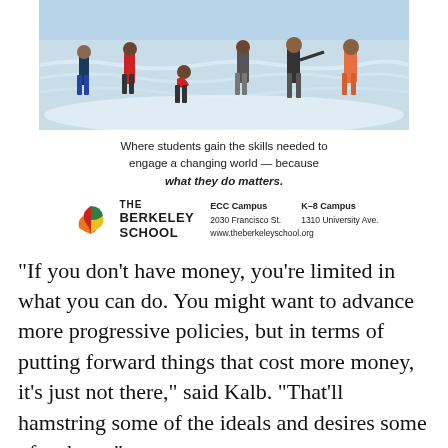[Figure (photo): Children standing in shallow ocean waves at a beach, viewed from behind]
Where students gain the skills needed to engage a changing world — because what they do matters.
[Figure (logo): The Berkeley School logo with colorful leaf/hands icon and text, plus campus addresses]
“If you don’t have money, you’re limited in what you can do. You might want to advance more progressive policies, but in terms of putting forward things that cost more money, it’s just not there,” said Kalb. “That’ll hamstring some of the ideals and desires some of us have.”
Bas appointed Kalb to lead the council’s